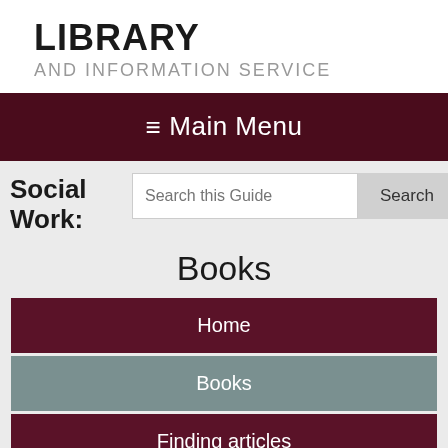LIBRARY
AND INFORMATION SERVICE
≡Main Menu
Social Work:
Search this Guide
Books
Home
Books
Finding articles
E-theses and SUNScholar
Journals